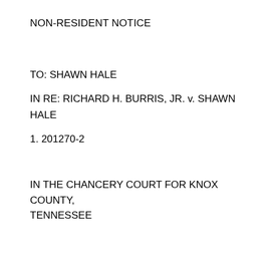NON-RESIDENT NOTICE
TO: SHAWN HALE
IN RE: RICHARD H. BURRIS, JR. v. SHAWN HALE
1. 201270-2
IN THE CHANCERY COURT FOR KNOX COUNTY, TENNESSEE
In this Cause appearing from the Complaint filed, which is verified, that the Defendant,